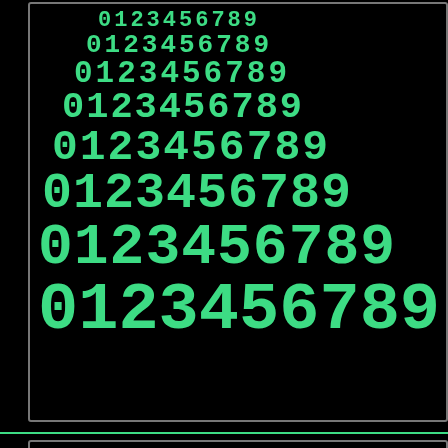[Figure (screenshot): Retro-style computer display showing two panels on black background. Top panel contains 8 rows of green digits '0123456789' in increasing font size from top to bottom, with a red '+' symbol visible at the right edge of the last row. A thin green horizontal separator line divides the panels. Bottom panel shows 2 rows of green digits '0123456789' with a red '+' visible, cropped at bottom of image. All text uses a bold monospace/pixel font in bright green (#3ddc84) on black.]